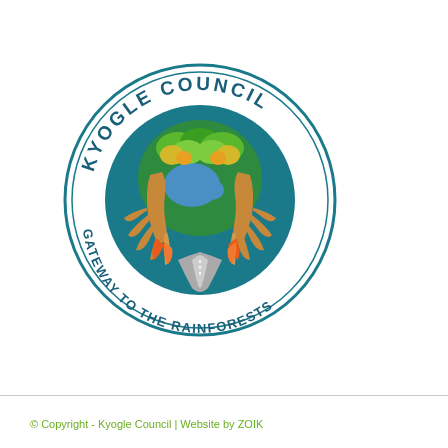[Figure (logo): Kyogle Council circular logo featuring tree roots framing a globe with rainforest imagery, text reading KYOGLE COUNCIL on top arc and GATEWAY TO THE RAINFORESTS on bottom arc, in teal, green, yellow, orange and blue colors]
© Copyright - Kyogle Council | Website by ZOIK